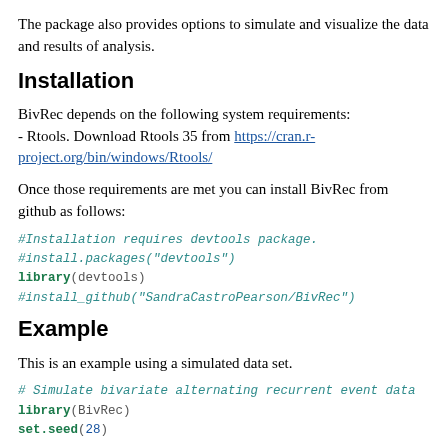The package also provides options to simulate and visualize the data and results of analysis.
Installation
BivRec depends on the following system requirements:
- Rtools. Download Rtools 35 from https://cran.r-project.org/bin/windows/Rtools/
Once those requirements are met you can install BivRec from github as follows:
#Installation requires devtools package.
#install.packages("devtools")
library(devtools)
#install_github("SandraCastroPearson/BivRec")
Example
This is an example using a simulated data set.
# Simulate bivariate alternating recurrent event data
library(BivRec)
set.seed(28)